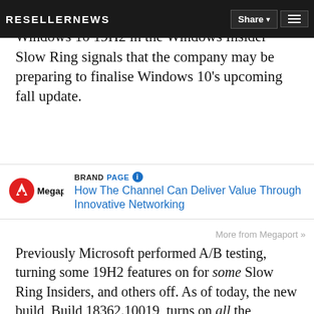RESELLERNEWS | Share | Menu
A shift in how Microsoft has deployed Windows 10 19H2 in the Windows Insider Slow Ring signals that the company may be preparing to finalise Windows 10's upcoming fall update.
[Figure (logo): Megaport logo - red circle with white 'A' shape and 'Megaport' text]
BRANDPAGE How The Channel Can Deliver Value Through Innovative Networking
More from Megaport »
Previously Microsoft performed A/B testing, turning some 19H2 features on for some Slow Ring Insiders, and others off. As of today, the new build, Build 18362.10019, turns on all the features for everyone with a PC that's part of the Slow Ring Insider program.